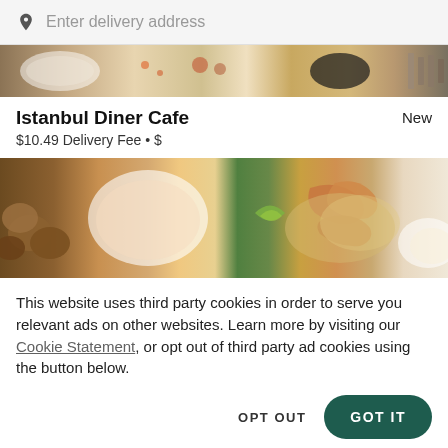[Figure (screenshot): Search bar with location pin icon and placeholder text 'Enter delivery address' on a light gray background]
[Figure (photo): Partial cropped photo of food dishes from above, showing plates with various foods]
Istanbul Diner Cafe
New
$10.49 Delivery Fee • $
[Figure (photo): Photo of food including shrimp, rice, mushrooms, lime wedge, and a white bowl with sauce]
This website uses third party cookies in order to serve you relevant ads on other websites. Learn more by visiting our Cookie Statement, or opt out of third party ad cookies using the button below.
OPT OUT
GOT IT